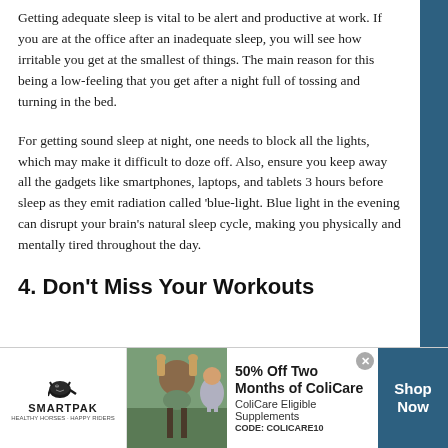Getting adequate sleep is vital to be alert and productive at work. If you are at the office after an inadequate sleep, you will see how irritable you get at the smallest of things. The main reason for this being a low-feeling that you get after a night full of tossing and turning in the bed.
For getting sound sleep at night, one needs to block all the lights, which may make it difficult to doze off. Also, ensure you keep away all the gadgets like smartphones, laptops, and tablets 3 hours before sleep as they emit radiation called 'blue-light. Blue light in the evening can disrupt your brain's natural sleep cycle, making you physically and mentally tired throughout the day.
4. Don't Miss Your Workouts
[Figure (other): SmartPak advertisement banner featuring horse supplement offer: 50% Off Two Months of ColiCare, ColiCare Eligible Supplements, CODE: COLICARE10. Includes SmartPak logo with horse icon, product image, and Shop Now button.]